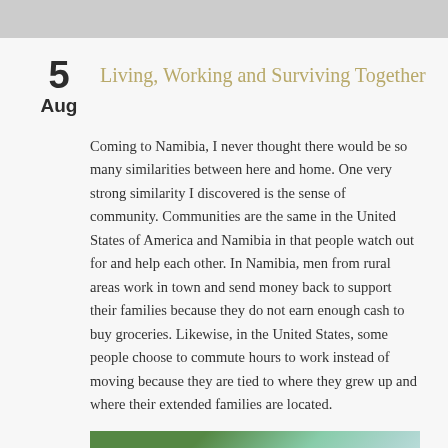Living, Working and Surviving Together
5
Aug
Coming to Namibia, I never thought there would be so many similarities between here and home. One very strong similarity I discovered is the sense of community. Communities are the same in the United States of America and Namibia in that people watch out for and help each other. In Namibia, men from rural areas work in town and send money back to support their families because they do not earn enough cash to buy groceries. Likewise, in the United States, some people choose to commute hours to work instead of moving because they are tied to where they grew up and where their extended families are located.
[Figure (photo): Outdoor photo showing green trees and sky, partially visible at the bottom of the page.]